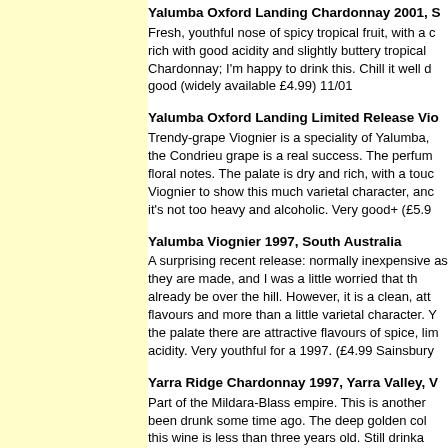Yalumba Oxford Landing Chardonnay 2001, S Fresh, youthful nose of spicy tropical fruit, with a rich with good acidity and slightly buttery tropical Chardonnay; I'm happy to drink this. Chill it well d good (widely available £4.99) 11/01
Yalumba Oxford Landing Limited Release Vio Trendy-grape Viognier is a speciality of Yalumba, the Condrieu grape is a real success. The perfum floral notes. The palate is dry and rich, with a tou Viognier to show this much varietal character, an it's not too heavy and alcoholic. Very good+ (£5.9
Yalumba Viognier 1997, South Australia A surprising recent release: normally inexpensive as they are made, and I was a little worried that t already be over the hill. However, it is a clean, att flavours and more than a little varietal character. the palate there are attractive flavours of spice, li acidity. Very youthful for a 1997. (£4.99 Sainsbur
Yarra Ridge Chardonnay 1997, Yarra Valley, Part of the Mildara-Blass empire. This is anothe been drunk some time ago. The deep golden co this wine is less than three years old. Still drink sensecence, this wine has a smooth palate with notes, supplemented by elements of coffee and was allowed, but despite this the wine is low in enjoy it, but I was disappointed. (Oddbins, £5.99